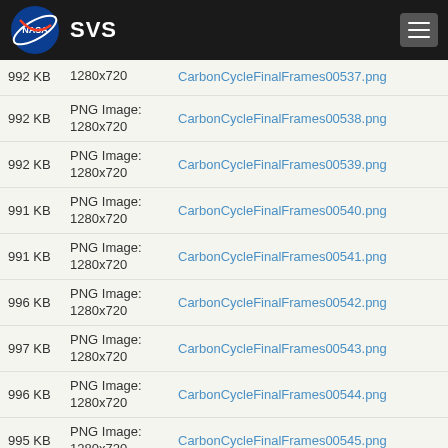NASA SVS
992 KB | PNG Image: 1280x720 | CarbonCycleFinalFrames00537.png
992 KB | PNG Image: 1280x720 | CarbonCycleFinalFrames00538.png
992 KB | PNG Image: 1280x720 | CarbonCycleFinalFrames00539.png
991 KB | PNG Image: 1280x720 | CarbonCycleFinalFrames00540.png
991 KB | PNG Image: 1280x720 | CarbonCycleFinalFrames00541.png
996 KB | PNG Image: 1280x720 | CarbonCycleFinalFrames00542.png
997 KB | PNG Image: 1280x720 | CarbonCycleFinalFrames00543.png
996 KB | PNG Image: 1280x720 | CarbonCycleFinalFrames00544.png
995 KB | PNG Image: 1280x720 | CarbonCycleFinalFrames00545.png
995 KB | PNG Image: 1280x720 | CarbonCycleFinalFrames00546.png